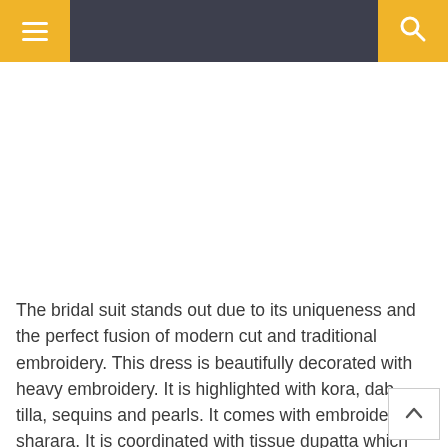Navigation header with menu and search icons
[Figure (photo): White empty area representing a product image placeholder for a bridal suit]
The bridal suit stands out due to its uniqueness and the perfect fusion of modern cut and traditional embroidery. This dress is beautifully decorated with heavy embroidery. It is highlighted with kora, dab tilla, sequins and pearls. It comes with embroide sharara. It is coordinated with tissue dupatta which is